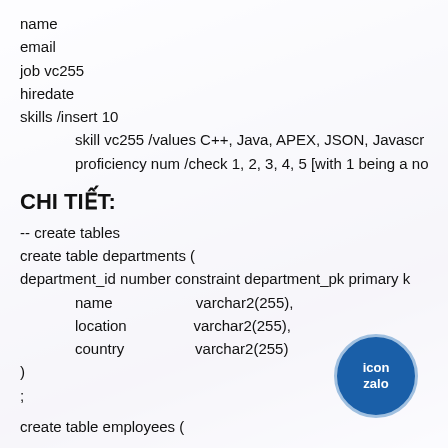name
email
job vc255
hiredate
skills /insert 10
    skill vc255 /values C++, Java, APEX, JSON, Javascript
    proficiency num /check 1, 2, 3, 4, 5 [with 1 being a no
CHI TIẾT:
-- create tables
create table departments (
department_id number constraint department_pk primary k
    name                    varchar2(255),
    location                varchar2(255),
    country                 varchar2(255)
)
;

create table employees (
[Figure (logo): Zalo icon - circular blue button with text 'icon zalo']